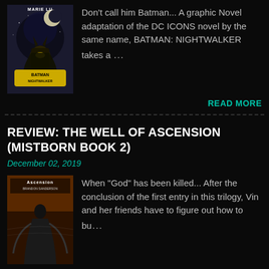[Figure (illustration): Book cover of Batman: Nightwalker by Marie Lu, showing Batman character against a night sky with moon]
Don't call him Batman... A graphic Novel adaptation of the DC ICONS novel by the same name, BATMAN: NIGHTWALKER takes a …
READ MORE
REVIEW: THE WELL OF ASCENSION (MISTBORN BOOK 2)
December 02, 2019
[Figure (illustration): Book cover of The Well of Ascension (Mistborn Book 2), showing a dark-robed figure]
When "God" has been killed... After the conclusion of the first entry in this trilogy, Vin and her friends have to figure out how to bu…
READ MORE
BOX REVIEW: CULTURE CARTON
April 02, 2019